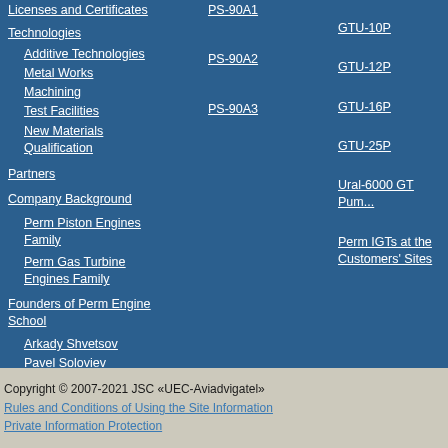Licenses and Certificates
Technologies
Additive Technologies
Metal Works
Machining
Test Facilities
New Materials Qualification
Partners
Company Background
Perm Piston Engines Family
Perm Gas Turbine Engines Family
Founders of Perm Engine School
Arkady Shvetsov
Pavel Soloviev
PS-90A1
PS-90A2
PS-90A3
GTU-10P
GTU-12P
GTU-16P
GTU-25P
Ural-6000 GT Pum...
Perm IGTs at the Customers' Sites
Copyright © 2007-2021 JSC «UEC-Aviadvigatel»
Rules and Conditions of Using the Site Information
Private Information Protection